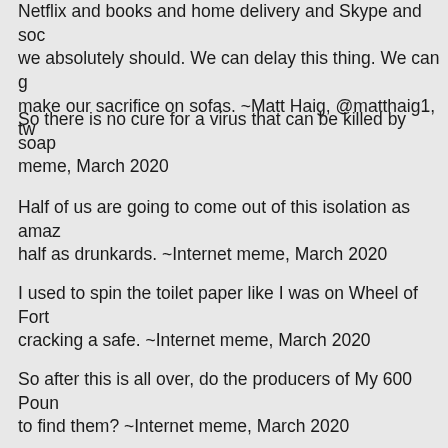Netflix and books and home delivery and Skype and so we absolutely should. We can delay this thing. We can make our sacrifice on sofas. ~Matt Haig, @matthaig1, tw
So there is no cure for a virus that can be killed by soap meme, March 2020
Half of us are going to come out of this isolation as ama half as drunkards. ~Internet meme, March 2020
I used to spin the toilet paper like I was on Wheel of For cracking a safe. ~Internet meme, March 2020
So after this is all over, do the producers of My 600 Pou to find them? ~Internet meme, March 2020
Remember wishing the weekend would last forever? Are ~Internet meme, March 2020